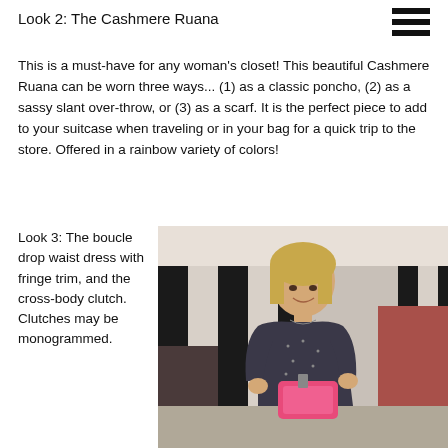Look 2:  The Cashmere Ruana
This is a must-have for any woman's closet! This beautiful Cashmere Ruana can be worn three ways... (1) as a classic poncho, (2) as a sassy slant over-throw, or (3) as a scarf. It is the perfect piece to add to your suitcase when traveling or in your bag for a quick trip to the store. Offered in a rainbow variety of colors!
Look 3:  The boucle drop waist dress with fringe trim, and the cross-body clutch.  Clutches may be monogrammed.
[Figure (photo): A smiling blonde woman in a dark floral short-sleeve top standing in a boutique store holding a pink clutch bag, surrounded by clothing racks and striped black-and-white walls.]